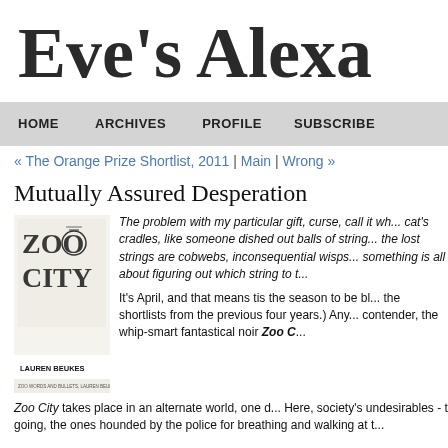Eve's Alexa
HOME | ARCHIVES | PROFILE | SUBSCRIBE
« The Orange Prize Shortlist, 2011 | Main | Wrong »
Mutually Assured Desperation
[Figure (illustration): Book cover of Zoo City by Lauren Beukes]
The problem with my particular gift, curse, call it wh... cat's cradles, like someone dished out balls of string... the lost strings are cobwebs, inconsequential wisps... something is all about figuring out which string to t...
It's April, and that means tis the season to be bl... the shortlists from the previous four years.) Any... contender, the whip-smart fantastical noir Zoo C...
Zoo City takes place in an alternate world, one d... Here, society's undesirables - the ones respect... going, the ones hounded by the police for breathing and walking at t...